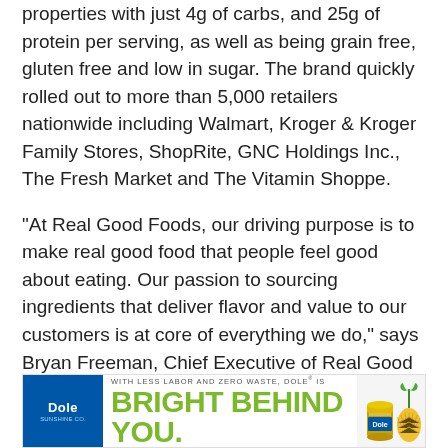properties with just 4g of carbs, and 25g of protein per serving, as well as being grain free, gluten free and low in sugar. The brand quickly rolled out to more than 5,000 retailers nationwide including Walmart, Kroger & Kroger Family Stores, ShopRite, GNC Holdings Inc., The Fresh Market and The Vitamin Shoppe.
"At Real Good Foods, our driving purpose is to make real good food that people feel good about eating. Our passion to sourcing ingredients that deliver flavor and value to our customers is at core of everything we do," says Bryan Freeman, Chief Executive of Real Good Foods. “We are committed to addressing our customer’s healthful lifestyle choices by offering delicious and healthy versions of their favor...
[Figure (other): Dole advertisement banner: Dole logo on blue background on the left, tagline 'WITH LESS LABOR AND ZERO WASTE, DOLE® IS' above large green text 'BRIGHT BEHIND YOU.' with a Dole can and pineapple image on the right.]